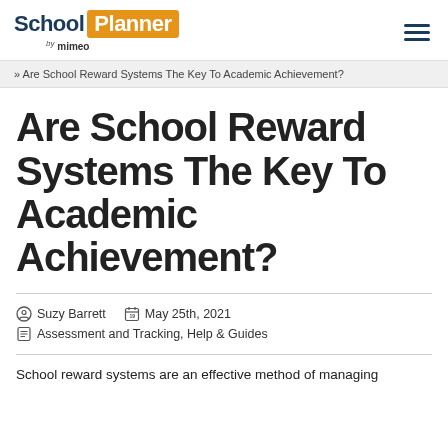School Planner by mimeo
» Are School Reward Systems The Key To Academic Achievement?
Are School Reward Systems The Key To Academic Achievement?
Suzy Barrett   May 25th, 2021   Assessment and Tracking, Help & Guides
School reward systems are an effective method of managing